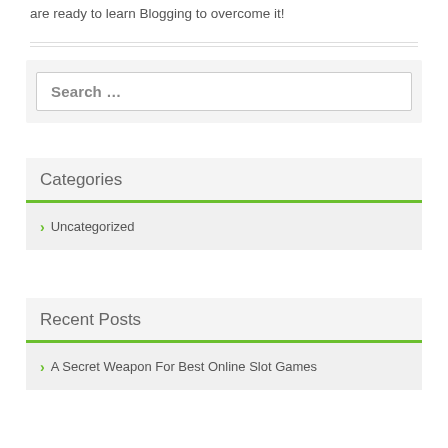are ready to learn Blogging to overcome it!
Search …
Categories
Uncategorized
Recent Posts
A Secret Weapon For Best Online Slot Games